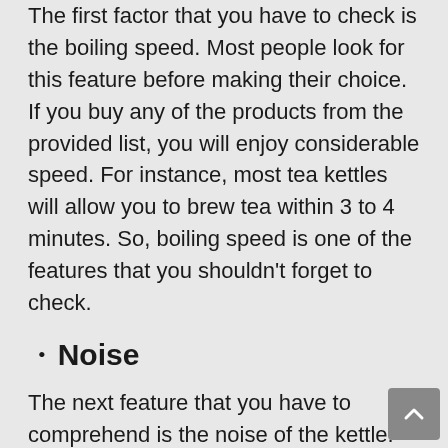The first factor that you have to check is the boiling speed. Most people look for this feature before making their choice. If you buy any of the products from the provided list, you will enjoy considerable speed. For instance, most tea kettles will allow you to brew tea within 3 to 4 minutes. So, boiling speed is one of the features that you shouldn't forget to check.
Noise
The next feature that you have to comprehend is the noise of the kettle. Choose one that doesn't create much noise. However, these days most of the branded tea kettles come with the noiseless feature. You can buy any one of them if you have